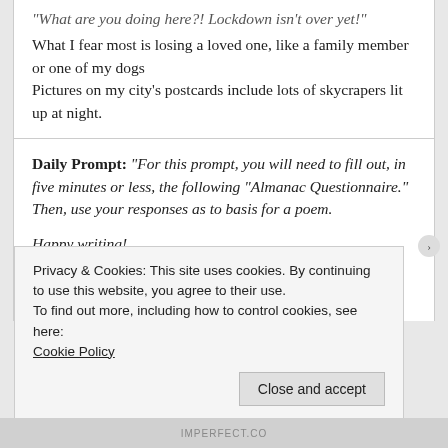“What are you doing here?! Lockdown isn’t over yet!”
What I fear most is losing a loved one, like a family member or one of my dogs
Pictures on my city’s postcards include lots of skycrapers lit up at night.
Daily Prompt: “For this prompt, you will need to fill out, in five minutes or less, the following “Almanac Questionnaire.” Then, use your responses as to basis for a poem.
Happy writing!
Almanac Questionnaire
Privacy & Cookies: This site uses cookies. By continuing to use this website, you agree to their use.
To find out more, including how to control cookies, see here:
Cookie Policy
Close and accept